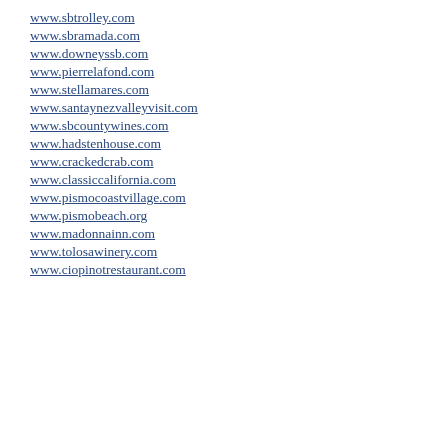www.sbtrolley.com
www.sbramada.com
www.downeyssb.com
www.pierrelafond.com
www.stellamares.com
www.santaynezvalleyvisit.com
www.sbcountywines.com
www.hadstenhouse.com
www.crackedcrab.com
www.classiccalifornia.com
www.pismocoastvillage.com
www.pismobeach.org
www.madonnainn.com
www.tolosawinery.com
www.ciopinotrestaurant.com